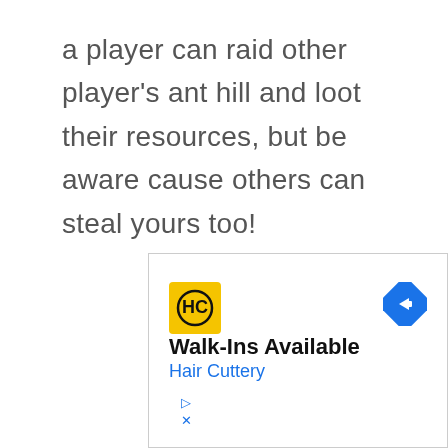a player can raid other player's ant hill and loot their resources, but be aware cause others can steal yours too!
[Figure (other): Advertisement banner for Hair Cuttery with yellow logo, Walk-Ins Available text, blue subtitle Hair Cuttery, a blue diamond arrow icon, and ad controls (play and close buttons)]